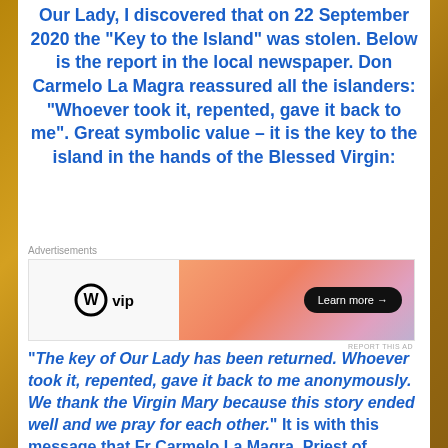Our Lady, I discovered that on 22 September 2020 the “Key to the Island” was stolen. Below is the report in the local newspaper. Don Carmelo La Magra reassured all the islanders: “Whoever took it, repented, gave it back to me”. Great symbolic value – it is the key to the island in the hands of the Blessed Virgin:
[Figure (other): WordPress VIP advertisement banner with logo on left and gradient background on right with 'Learn more' button]
“The key of Our Lady has been returned. Whoever took it, repented, gave it back to me anonymously. We thank the Virgin Mary because this story ended well and we pray for each other.” It is with this message that Fr Carmelo La Magra, Priest of Lampedusa, reassured all the islanders last night